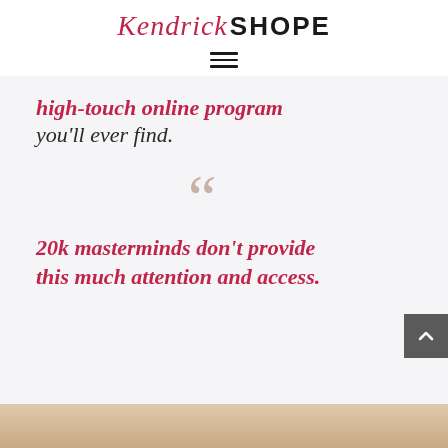Kendrick SHOPE
high-touch online program you'll ever find.
[Figure (other): Large decorative opening double quotation mark in muted rose/tan color]
20k masterminds don't provide this much attention and access.
[Figure (photo): Partial photo at bottom of page, warm tones]